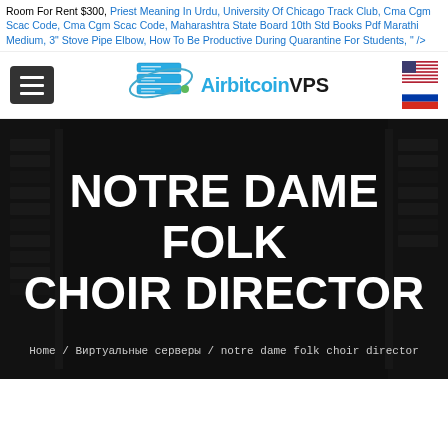Room For Rent $300, Priest Meaning In Urdu, University Of Chicago Track Club, Cma Cgm Scac Code, Cma Cgm Scac Code, Maharashtra State Board 10th Std Books Pdf Marathi Medium, 3" Stove Pipe Elbow, How To Be Productive During Quarantine For Students, " />
[Figure (logo): AirbitcoinVPS logo with server/planet icon, hamburger menu button, and two flag icons (US and Russia) for language selection]
NOTRE DAME FOLK CHOIR DIRECTOR
Home / Виртуальные серверы / notre dame folk choir director